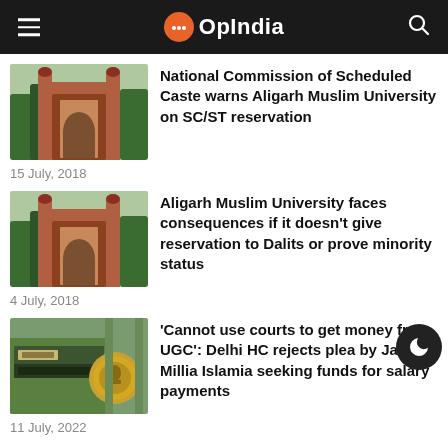OpIndia
[Figure (photo): Aligarh Muslim University gate building photo]
National Commission of Scheduled Caste warns Aligarh Muslim University on SC/ST reservation
15 July, 2018
[Figure (photo): Aligarh Muslim University gate building photo]
Aligarh Muslim University faces consequences if it doesn't give reservation to Dalits or prove minority status
4 July, 2018
[Figure (photo): Delhi High Court sign and emblem photo]
'Cannot use courts to get money from UGC': Delhi HC rejects plea by Jamia Millia Islamia seeking funds for salary payments
11 July, 2022